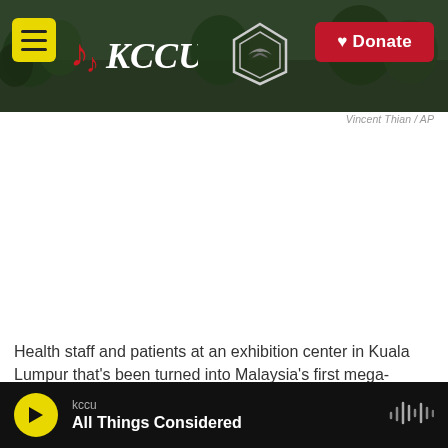[Figure (screenshot): KCCU radio station website header banner showing a campus outdoor scene with trees and a university sign in the background. Header includes a yellow menu button, KCCU logo with musical note icon, a college logo, and a red Donate button.]
Vincent Thian / AP
Health staff and patients at an exhibition center in Kuala Lumpur that's been turned into Malaysia's first mega-vaccination center. The government aims to speed up inoculations amid a sharp spike in
kccu
All Things Considered